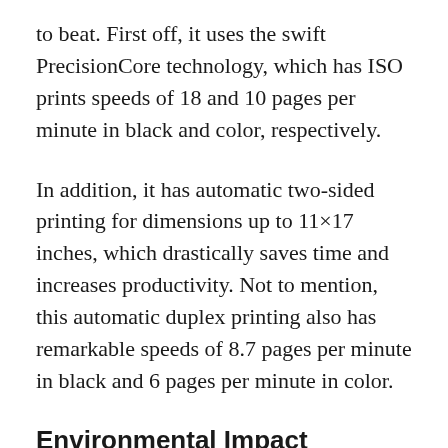to beat. First off, it uses the swift PrecisionCore technology, which has ISO prints speeds of 18 and 10 pages per minute in black and color, respectively.
In addition, it has automatic two-sided printing for dimensions up to 11×17 inches, which drastically saves time and increases productivity. Not to mention, this automatic duplex printing also has remarkable speeds of 8.7 pages per minute in black and 6 pages per minute in color.
Environmental Impact